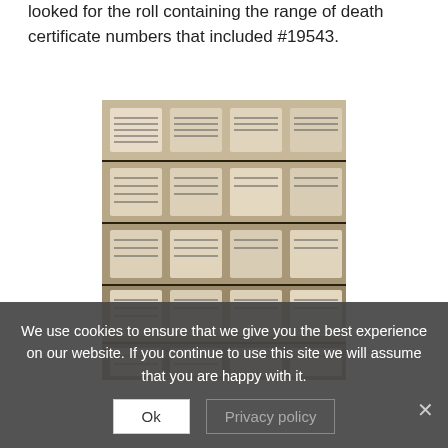looked for the roll containing the range of death certificate numbers that included #19543.
[Figure (photo): Stacks of microfilm rolls arranged in rows, each labeled with death certificate number ranges, stored in a storage area.]
We use cookies to ensure that we give you the best experience on our website. If you continue to use this site we will assume that you are happy with it.